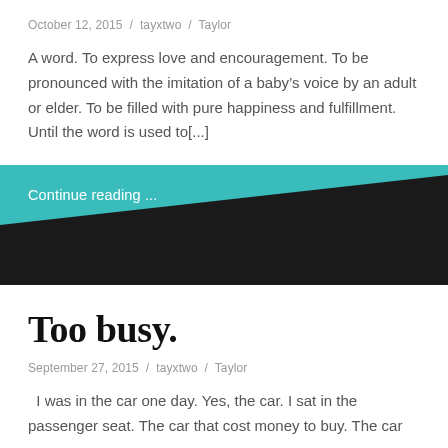October 12, 2015 / tayxtwo / Taylor
A word. To express love and encouragement. To be pronounced with the imitation of a baby’s voice by an adult or elder. To be filled with pure happiness and fulfillment. Until the word is used to[...]
Continue reading ...
Too busy.
September 27, 2015 / tayxtwo / Taylor
I was in the car one day. Yes, the car. I sat in the passenger seat. The car that cost money to buy. The car